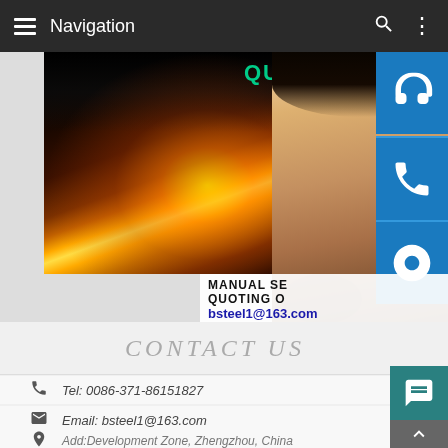Navigation
[Figure (screenshot): Mobile website screenshot showing a steel company page with laser cutting sparks image on the left, customer service representative photo on the right, blue icon buttons (headset, phone, Skype), overlay text showing MANUAL SERVICE, QUOTING O[PTION], bsteel1@163.com]
CONTACT US
Tel: 0086-371-86151827
Email: bsteel1@163.com
Add:Development Zone, Zhengzhou, China